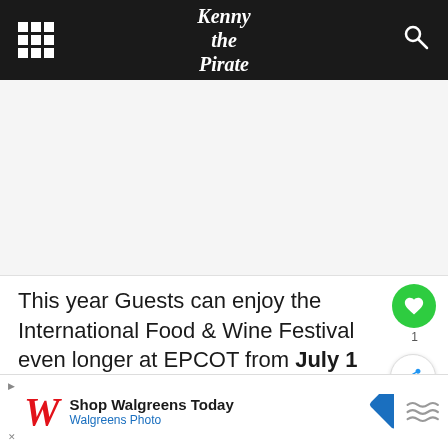Kenny the Pirate
[Figure (other): Advertisement placeholder area (gray background)]
This year Guests can enjoy the International Food & Wine Festival even longer at EPCOT from July 1 through November 20, 2021. Our Kenny the Pirate writing crew have shared a review of the festival merchandise. Also be sure to check out the fun scavenger hun
[Figure (other): What's Next widget: Guide to Epcot...]
[Figure (other): Walgreens advertisement banner: Shop Walgreens Today / Walgreens Photo]